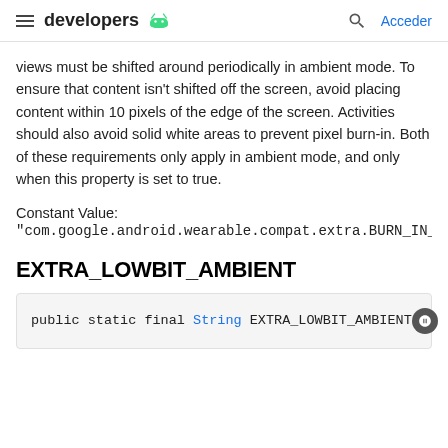developers
views must be shifted around periodically in ambient mode. To ensure that content isn't shifted off the screen, avoid placing content within 10 pixels of the edge of the screen. Activities should also avoid solid white areas to prevent pixel burn-in. Both of these requirements only apply in ambient mode, and only when this property is set to true.
Constant Value:
"com.google.android.wearable.compat.extra.BURN_IN_PROTE
EXTRA_LOWBIT_AMBIENT
public static final String EXTRA_LOWBIT_AMBIENT